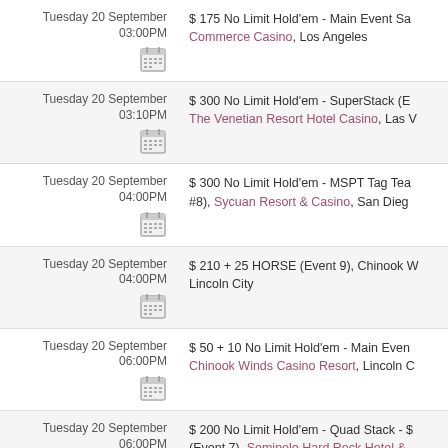| Date/Time | Event |
| --- | --- |
| Tuesday 20 September 03:00PM | $ 175 No Limit Hold'em - Main Event Sa...
Commerce Casino, Los Angeles |
| Tuesday 20 September 03:10PM | $ 300 No Limit Hold'em - SuperStack (E...
The Venetian Resort Hotel Casino, Las V... |
| Tuesday 20 September 04:00PM | $ 300 No Limit Hold'em - MSPT Tag Tea...
#8), Sycuan Resort & Casino, San Dieg... |
| Tuesday 20 September 04:00PM | $ 210 + 25 HORSE (Event 9), Chinook W...
Lincoln City |
| Tuesday 20 September 06:00PM | $ 50 + 10 No Limit Hold'em - Main Even...
Chinook Winds Casino Resort, Lincoln C... |
| Tuesday 20 September 06:00PM | $ 200 No Limit Hold'em - Quad Stack - $...
(Event 7), Seminole Hard Rock Hotel & ... |
| Tuesday 20 September 06:10PM | $ 300 No Limit Hold'em - Bounty (Event...
The Venetian Resort Hotel Casino, Las V... |
| Tuesday 20 September 06:30PM | C$ 170 + 20 No Limit Hold'em - Turbo S...
Casino Yellowhead, Edmonton |
| Tuesday 20 September 06:30PM | $ 120 No Limit Hold'em, Canterbury Par... |